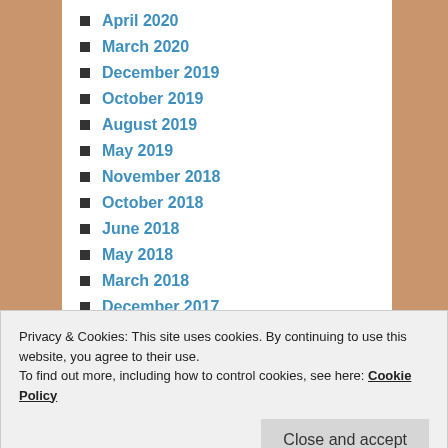April 2020
March 2020
December 2019
October 2019
August 2019
May 2019
November 2018
October 2018
June 2018
May 2018
March 2018
December 2017
November 2017
September 2017
November 2016
Privacy & Cookies: This site uses cookies. By continuing to use this website, you agree to their use.
To find out more, including how to control cookies, see here: Cookie Policy
Close and accept